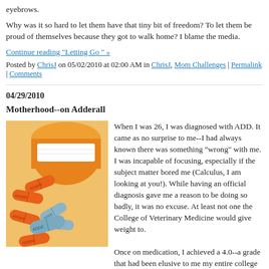eyebrows.
Why was it so hard to let them have that tiny bit of freedom? To let them be proud of themselves because they got to walk home? I blame the media.
Continue reading "Letting Go " »
Posted by ChrisJ on 05/02/2010 at 02:00 AM in ChrisJ, Mom Challenges | Permalink | Comments
04/29/2010
Motherhood--on Adderall
[Figure (photo): A pill bottle tipped over with orange and blue Adderall capsules spilling out]
When I was 26, I was diagnosed with ADD. It came as no surprise to me--I had always known there was something "wrong" with me. I was incapable of focusing, especially if the subject matter bored me (Calculus, I am looking at you!). While having an official diagnosis gave me a reason to be doing so badly, it was no excuse. At least not one the College of Veterinary Medicine would give weight to.
Once on medication, I achieved a 4.0--a grade that had been elusive to me my entire college career. At that point, it was too late to save my GPA (and my self-esteem), my lifelong dream of being a vet died a slow, tortu